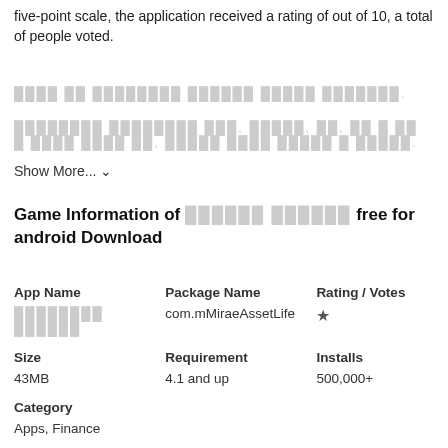five-point scale, the application received a rating of out of 10, a total of people voted.
[blurred text line 1]
[blurred text line 2]
Show More... ∨
Game Information of [blurred] free for android Download
| App Name | Package Name | Rating / Votes |
| --- | --- | --- |
| [blurred] | com.mMiraeAssetLife | ★ |
| Size | Requirement | Installs |
| 43MB | 4.1 and up | 500,000+ |
| Category |  |  |
| Apps, Finance |  |  |